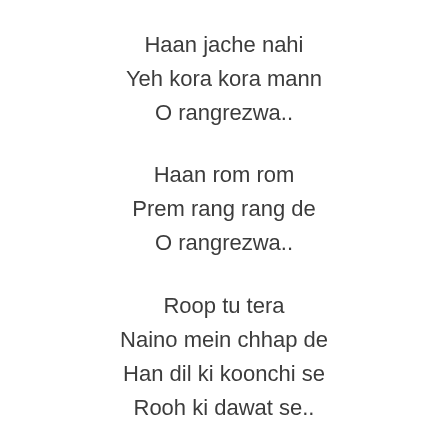Haan jache nahi
Yeh kora kora mann
O rangrezwa..
Haan rom rom
Prem rang rang de
O rangrezwa..
Roop tu tera
Naino mein chhap de
Han dil ki koonchi se
Rooh ki dawat se..
Sanwar de sanwariya